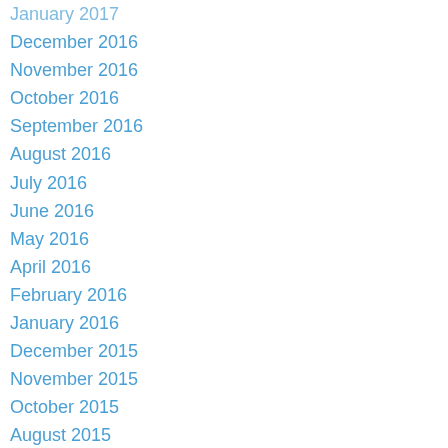January 2017
December 2016
November 2016
October 2016
September 2016
August 2016
July 2016
June 2016
May 2016
April 2016
February 2016
January 2016
December 2015
November 2015
October 2015
August 2015
July 2015
June 2015
May 2015
April 2015
March 2015